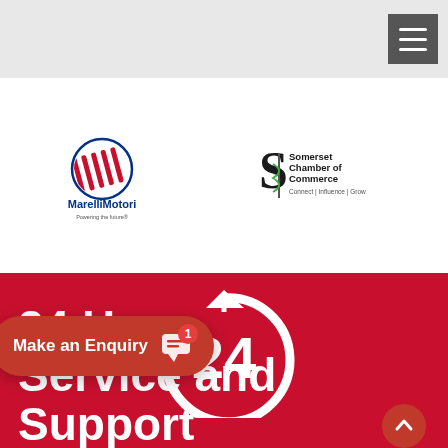Navigation bar with hamburger menu
[Figure (logo): MarelliMotori logo — circular badge with diagonal red stripes, text 'MarelliMotori' and tagline 'Powering the future']
[Figure (logo): Somerset Chamber of Commerce logo — stylised S with snake-staff symbol, text 'Somerset Chamber of Commerce Connect | Influence | Grow']
[Figure (infographic): 24-hour circular arrow icon in white on red background]
24 Hour Service and Support
Make an Enquiry